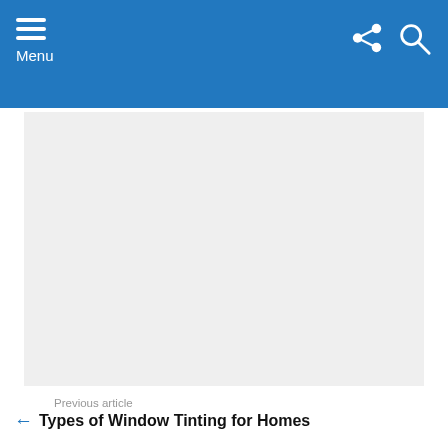Menu
[Figure (other): Advertisement placeholder area (light gray rectangle)]
Previous article
Types of Window Tinting for Homes
Next article
Dining Room Windows (Best Types To Use & Ideas)
[Figure (illustration): Generic user avatar icon (gray circle with person silhouette)]
Written by DI Editorial Team & Writers